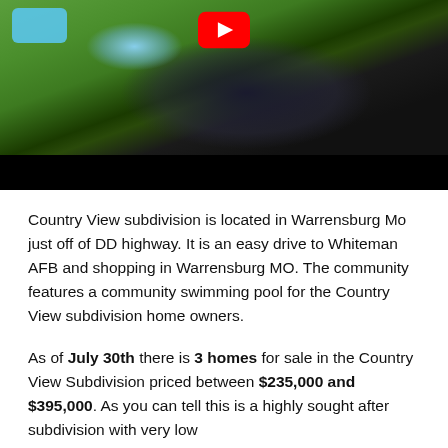[Figure (photo): Aerial drone video thumbnail showing a community with a swimming pool (top left), green grass, and a large pond/lake. A red YouTube play button is visible at the top center. The bottom portion of the thumbnail is a black bar (video controls area).]
Country View subdivision is located in Warrensburg Mo just off of DD highway. It is an easy drive to Whiteman AFB and shopping in Warrensburg MO. The community features a community swimming pool for the Country View subdivision home owners.
As of July 30th there is 3 homes for sale in the Country View Subdivision priced between $235,000 and $395,000. As you can tell this is a highly sought after subdivision with very low